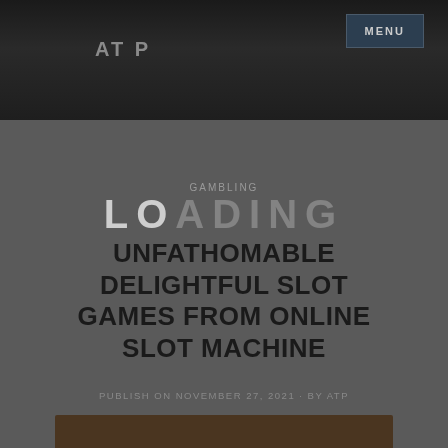AT P
MENU
GAMBLING
UNFATHOMABLE DELIGHTFUL SLOT GAMES FROM ONLINE SLOT MACHINE
PUBLISH ON NOVEMBER 27, 2021  BY ATP
[Figure (photo): Partial view of a dark-toned image at the bottom of the page, appearing to show a slot machine or casino-related imagery]